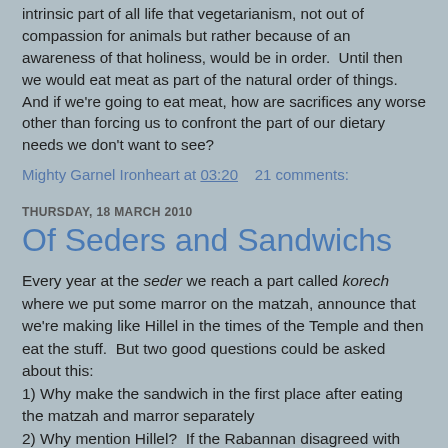intrinsic part of all life that vegetarianism, not out of compassion for animals but rather because of an awareness of that holiness, would be in order.  Until then we would eat meat as part of the natural order of things.  And if we're going to eat meat, how are sacrifices any worse other than forcing us to confront the part of our dietary needs we don't want to see?
Mighty Garnel Ironheart at 03:20    21 comments:
THURSDAY, 18 MARCH 2010
Of Seders and Sandwichs
Every year at the seder we reach a part called korech where we put some marror on the matzah, announce that we're making like Hillel in the times of the Temple and then eat the stuff.  But two good questions could be asked about this:
1) Why make the sandwich in the first place after eating the matzah and marror separately
2) Why mention Hillel?  If the Rabannan disagreed with him, why are we following his custom?  And if they agreed, why mention him?